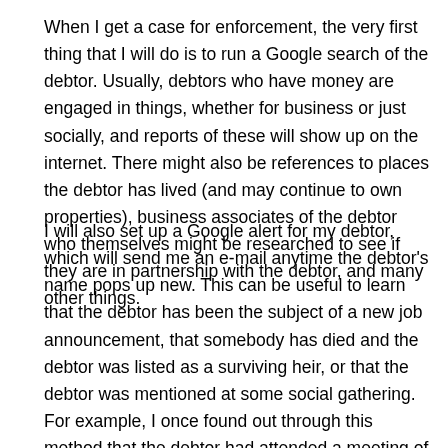When I get a case for enforcement, the very first thing that I will do is to run a Google search of the debtor. Usually, debtors who have money are engaged in things, whether for business or just socially, and reports of these will show up on the internet. There might also be references to places the debtor has lived (and may continue to own properties), business associates of the debtor who themselves might be researched to see if they are in partnership with the debtor, and many other things.
I will also set up a Google alert for my debtor, which will send me an e-mail anytime the debtor's name pops up new. This can be useful to learn that the debtor has been the subject of a new job announcement, that somebody has died and the debtor was listed as a surviving heir, or that the debtor was mentioned at some social gathering. For example, I once found out through this method that the debtor had attended a meeting of a yacht club, which lead to the discovery of the debtor's yacht held in the name of a shell company.